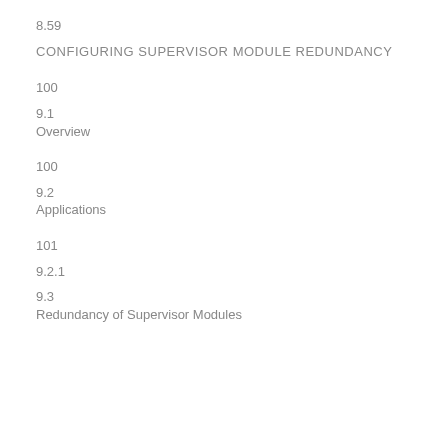8.59
CONFIGURING SUPERVISOR MODULE REDUNDANCY
100
9.1
Overview
100
9.2
Applications
101
9.2.1
9.3
Redundancy of Supervisor Modules